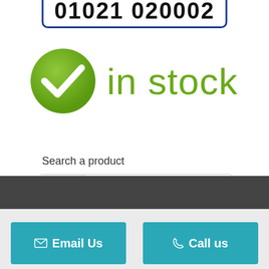[Figure (other): Phone number in a rounded blue border box, partially cropped at top: 01021 020002]
[Figure (infographic): Green checkmark circle icon next to large green 'in stock' text]
Search a product
[Figure (other): Search bar with magnifying glass icon and placeholder text 'Search Products']
Email Us   Call us